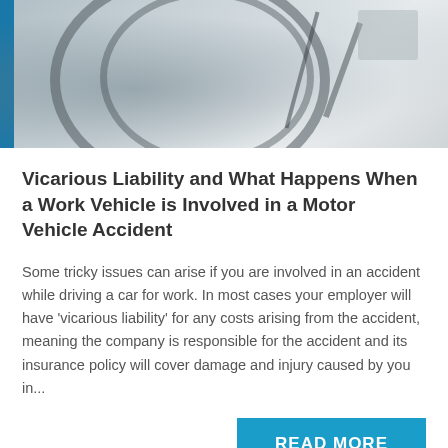[Figure (photo): Car interior photo showing steering wheel and dashboard elements with a blue vertical bar on the left edge]
Vicarious Liability and What Happens When a Work Vehicle is Involved in a Motor Vehicle Accident
Some tricky issues can arise if you are involved in an accident while driving a car for work. In most cases your employer will have 'vicarious liability' for any costs arising from the accident, meaning the company is responsible for the accident and its insurance policy will cover damage and injury caused by you in...
READ MORE